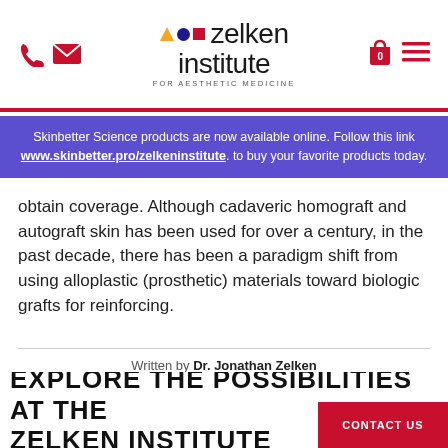Zelken Institute — For Aesthetic Medicine [navigation header with phone, email, logo, bag, and menu icons]
Skinbetter Science products are now available online. Follow this link www.skinbetter.pro/zelkeninstitute. to buy your favorite products today.
obtain coverage. Although cadaveric homograft and autograft skin has been used for over a century, in the past decade, there has been a paradigm shift from using alloplastic (prosthetic) materials toward biologic grafts for reinforcing.
Written by Dr. Jonathan Zelken
EXPLORE THE POSSIBILITIES AT THE ZELKEN INSTITUTE